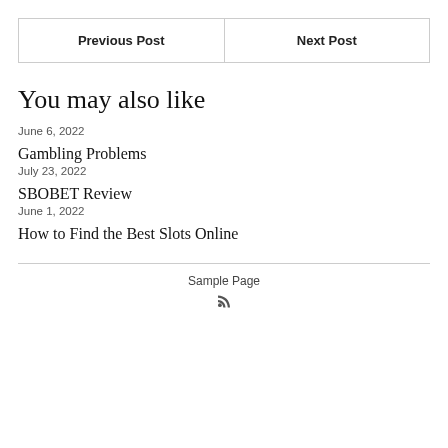| Previous Post | Next Post |
| --- | --- |
You may also like
June 6, 2022
Gambling Problems
July 23, 2022
SBOBET Review
June 1, 2022
How to Find the Best Slots Online
Sample Page